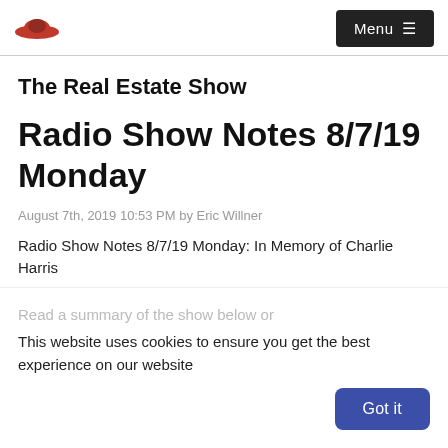Menu
The Real Estate Show
Radio Show Notes 8/7/19 Monday
August 7th, 2019 10:53 PM by Eric Willner
Radio Show Notes 8/7/19 Monday: In Memory of Charlie Harris
Read a summary of the show below or
This website uses cookies to ensure you get the best experience on our website
Got it